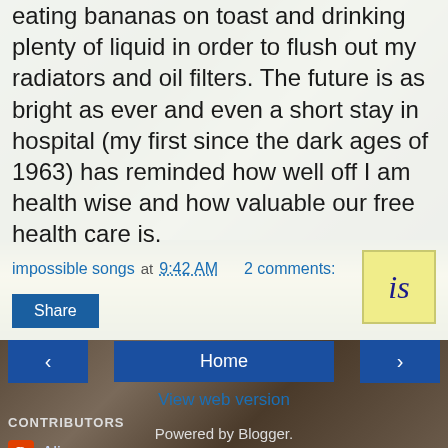eating bananas on toast and drinking plenty of liquid in order to flush out my radiators and oil filters. The future is as bright as ever and even a short stay in hospital (my first since the dark ages of 1963) has reminded how well off I am health wise and how valuable our free health care is.
impossible songs at 9:42 AM   2 comments:
[Figure (other): Yellow 'is' badge/logo square]
Share
< Home >
View web version
CONTRIBUTORS
Ali
impossible songs
Powered by Blogger.